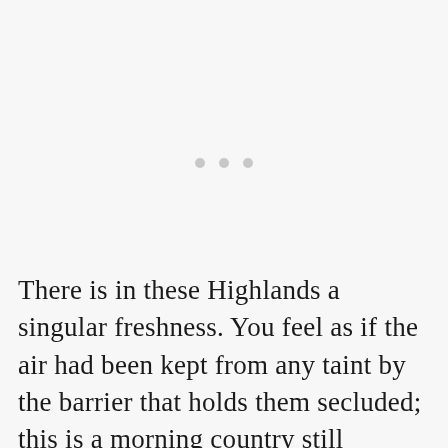[Figure (other): Three small grey dots arranged horizontally, centered on the page, used as a section break or ornamental divider.]
There is in these Highlands a singular freshness. You feel as if the air had been kept from any taint by the barrier that holds them secluded; this is a morning country still undefiled. It is no wonder that its people are choked by the thick air of other